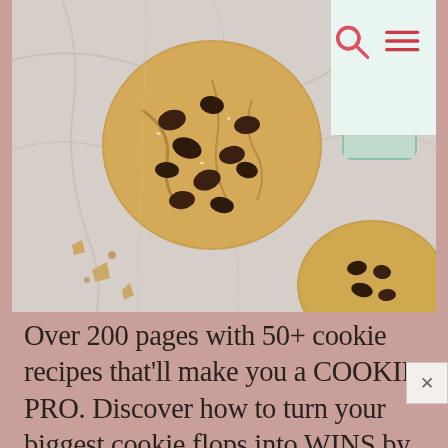[Figure (photo): Overhead photo of chocolate chip cookies on a marble surface with a green milk bottle, alongside cookie crumbles]
Over 200 pages with 50+ cookie recipes that'll make you a COOKIE PRO. Discover how to turn your biggest cookie flops into WINS by mastering the sweet science of baking. Even learn how to customize your own recipes! Beautiful, hardcopy, full color, photos of every recipe so you know EXACTLY how your cookies should look. Order now to have the book